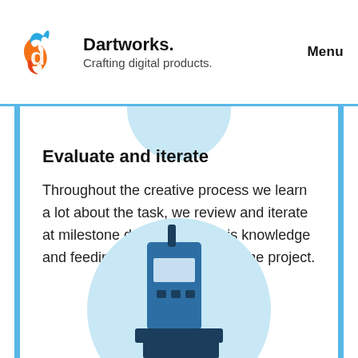Dartworks. Crafting digital products. Menu
Evaluate and iterate
Throughout the creative process we learn a lot about the task, we review and iterate at milestone dates utilising this knowledge and feeding it directly back into the project.
[Figure (illustration): Illustration of a walkie-talkie or handheld radio device in blue tones, placed on a light blue circular background, partially visible at the bottom of the page.]